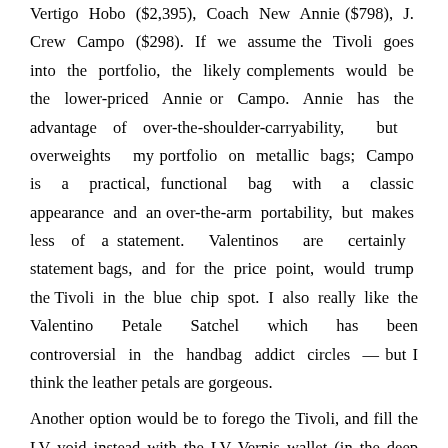Vertigo Hobo ($2,395), Coach New Annie ($798), J. Crew Campo ($298). If we assume the Tivoli goes into the portfolio, the likely complements would be the lower-priced Annie or Campo. Annie has the advantage of over-the-shoulder-carryability, but overweights my portfolio on metallic bags; Campo is a practical, functional bag with a classic appearance and an over-the-arm portability, but makes less of a statement. Valentinos are certainly statement bags, and for the price point, would trump the Tivoli in the blue chip spot. I also really like the Valentino Petale Satchel which has been controversial in the handbag addict circles — but I think the leather petals are gorgeous.
Another option would be to forego the Tivoli, and fill the LV void instead with the LV Vernis wallet (in the deep aubergine shade I love). Anchor then with a Valentino, supplement with an Annie or Campo, and add the Petale and other all